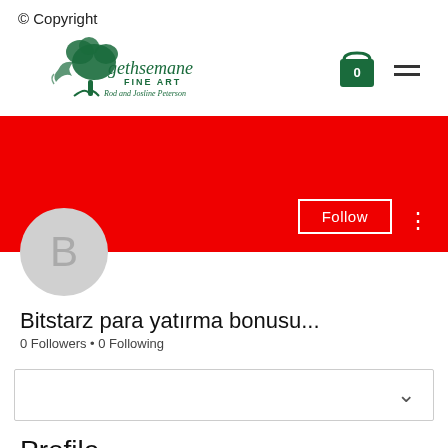© Copyright
[Figure (logo): Gethsemane Fine Art logo with tree illustration, text 'gethsemane FINE ART Rod and Josline Peterson']
[Figure (other): Shopping cart icon with 0, and hamburger menu icon]
[Figure (other): Red banner with Follow button and three-dot menu, profile avatar circle with letter B]
Bitstarz para yatırma bonusu...
0 Followers • 0 Following
[Figure (other): Dropdown box with chevron down arrow]
Profile